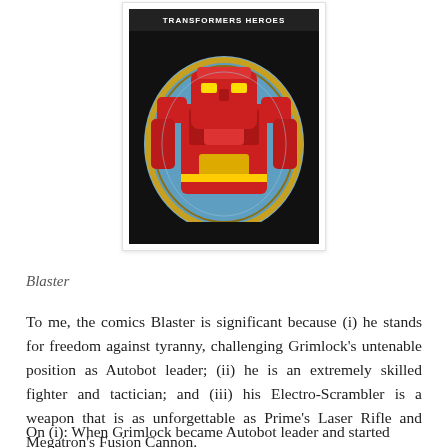[Figure (illustration): Comic book style illustration of Blaster (Transformers Autobot), a large red robot character shown from the torso up, set against a circular/oval blue background. The image has a black border and appears to be a trading card or comic panel.]
Blaster
To me, the comics Blaster is significant because (i) he stands for freedom against tyranny, challenging Grimlock's untenable position as Autobot leader; (ii) he is an extremely skilled fighter and tactician; and (iii) his Electro-Scrambler is a weapon that is as unforgettable as Prime's Laser Rifle and Megatron's Fusion Cannon.
On (i): When Grimlock became Autobot leader and started